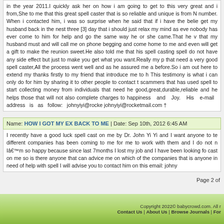in the year 2011.I quickly ask her on how i am going to get to this very great and from,She to me that this great spell caster that is so reliable and unique is from N number. When i contacted him, i was so surprise when he said that if i have the belie get my husband back in the nest three [3] day that i should just relax my mind as eve nobody has ever come to him for help and go the same way he or she came.That he that my husband must and will call me on phone begging and come home to me an even will get a gift to make the reunion sweet.He also told me that his spell casting spell do not have any side effect but just to make you get what you want.Really my that need a very good spell caster,All the process went well and as he assured me before.So i am out here to extend my thanks firstly to my friend that introduce me to This testimony is what i can only do for him by sharing it to other people to contact scammers that has used spell to start collecting money from individuals that need h good,great,durable,reliable and he helps those that will not also complete charges happiness and Joy. His e-mail address is as follow: johnyiyi@rocke johnyiyi@rocketmail.com †
Name: HOW I GOT MY EX BACK TO ME | Date: Sep 10th, 2012 6:45 AM
I recently have a good luck spell cast on me by Dr. John Yi Yi and I want anyone to te different companies has been coming to me for me to work with them and I do not Iâ€™m so happy because since last 7months I lost my job and I have been looking f cast on me so is there anyone that can advice me on which of the companies that is anyone in need of help with spell I will advise you to contact him on this email: john
Page 2 of
Copyright 2022© babycrowd.com. All | Contact Us | About Us | Browse Journals | For